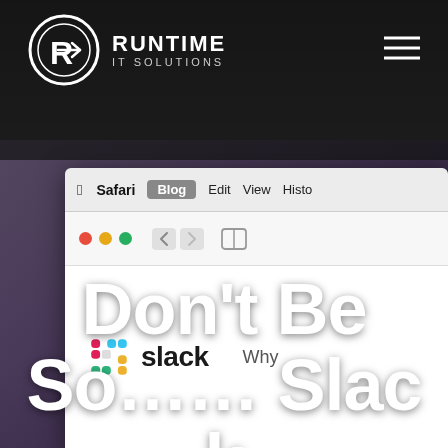[Figure (screenshot): Background with dark blurred scene of a phone/laptop device on a table]
RUNTIME IT SOLUTIONS
[Figure (screenshot): Mac browser window showing Safari menu bar and Slack website with traffic light controls and Slack logo]
Don’t Be So……Slack